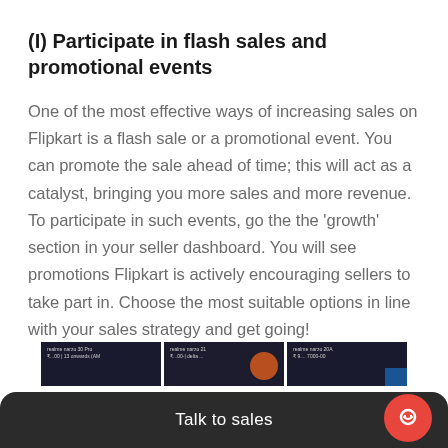(I) Participate in flash sales and promotional events
One of the most effective ways of increasing sales on Flipkart is a flash sale or a promotional event. You can promote the sale ahead of time; this will act as a catalyst, bringing you more sales and more revenue. To participate in such events, go the the 'growth' section in your seller dashboard. You will see promotions Flipkart is actively encouraging sellers to take part in. Choose the most suitable options in line with your sales strategy and get going!
[Figure (screenshot): Three dark thumbnail images showing Realme product promotional banners on Flipkart]
Talk to sales